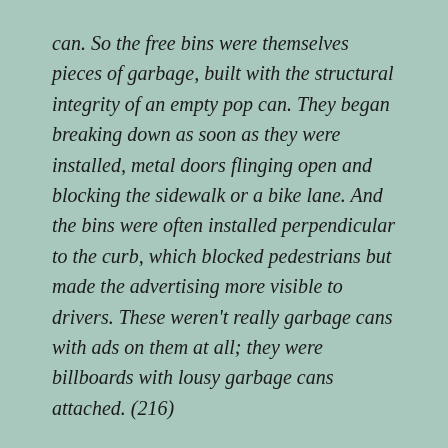can. So the free bins were themselves pieces of garbage, built with the structural integrity of an empty pop can. They began breaking down as soon as they were installed, metal doors flinging open and blocking the sidewalk or a bike lane. And the bins were often installed perpendicular to the curb, which blocked pedestrians but made the advertising more visible to drivers. These weren’t really garbage cans with ads on them at all; they were billboards with lousy garbage cans attached. (216)
[Toronto] has a donations policy that is explicitly designed to ensure that “donations occur at arm’s length from any City decision‑making process.” But “when I filed a complaint with the city’s